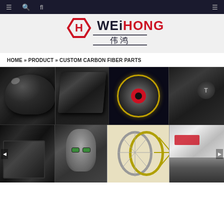Navigation bar with icons
[Figure (logo): WeiHong logo with red hexagon emblem and Chinese text 伟鸿]
HOME » PRODUCT » CUSTOM CARBON FIBER PARTS
[Figure (photo): Grid of carbon fiber product photos: car mirror cap, engine cover, bicycle hub, Tesla steering wheel (top row); camera rig, Stormtrooper helmet, racing bicycle, car diffuser (bottom row)]